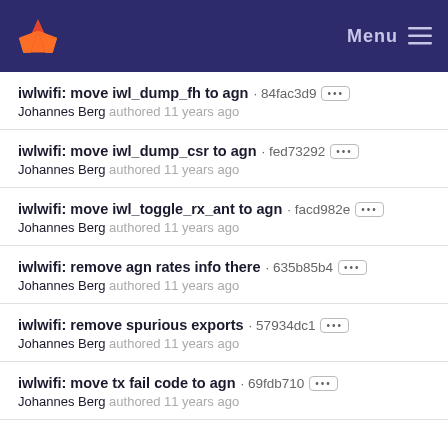GitLab — Menu
iwlwifi: move iwl_dump_fh to agn · 84fac3d9 — Johannes Berg authored 11 years ago
iwlwifi: move iwl_dump_csr to agn · fed73292 — Johannes Berg authored 11 years ago
iwlwifi: move iwl_toggle_rx_ant to agn · facd982e — Johannes Berg authored 11 years ago
iwlwifi: remove agn rates info there · 635b85b4 — Johannes Berg authored 11 years ago
iwlwifi: remove spurious exports · 57934dc1 — Johannes Berg authored 11 years ago
iwlwifi: move tx fail code to agn · 69fdb710 — Johannes Berg authored 11 years ago